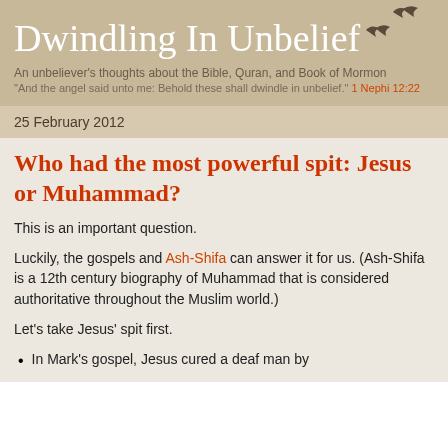Dwindling In Unbelief
An unbeliever's thoughts about the Bible, Quran, and Book of Mormon
"And the angel said unto me: Behold these shall dwindle in unbelief." 1 Nephi 12:22
25 February 2012
Who had the most powerful spit: Jesus or Muhammad?
This is an important question.
Luckily, the gospels and Ash-Shifa can answer it for us. (Ash-Shifa is a 12th century biography of Muhammad that is considered authoritative throughout the Muslim world.)
Let's take Jesus' spit first.
In Mark's gospel, Jesus cured a deaf man by putting some of his saliva on the deaf man's...